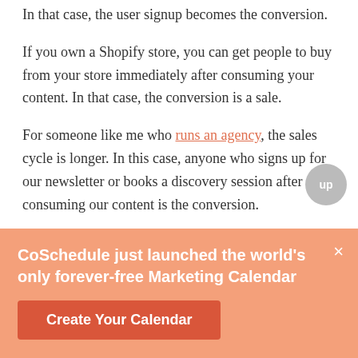In that case, the user signup becomes the conversion.
If you own a Shopify store, you can get people to buy from your store immediately after consuming your content. In that case, the conversion is a sale.
For someone like me who runs an agency, the sales cycle is longer. In this case, anyone who signs up for our newsletter or books a discovery session after consuming our content is the conversion.
CoScheduale just launched the world's only forever-free Marketing Calendar
Create Your Calendar